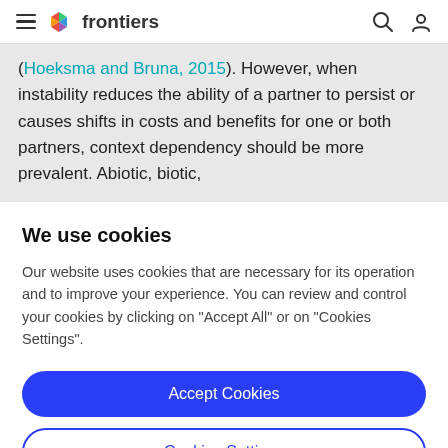frontiers
(Hoeksma and Bruna, 2015). However, when instability reduces the ability of a partner to persist or causes shifts in costs and benefits for one or both partners, context dependency should be more prevalent. Abiotic, biotic,
We use cookies
Our website uses cookies that are necessary for its operation and to improve your experience. You can review and control your cookies by clicking on "Accept All" or on "Cookies Settings".
Accept Cookies
Cookies Settings